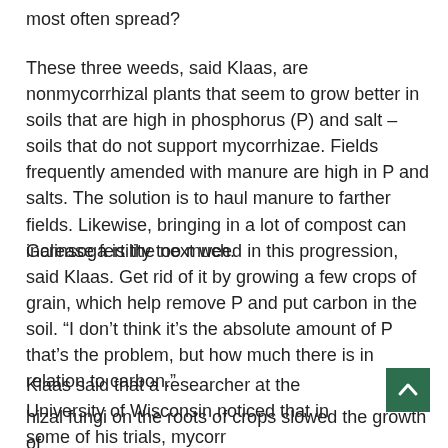most often spread?
These three weeds, said Klaas, are nonmycorrhizal plants that seem to grow better in soils that are high in phosphorus (P) and salt – soils that do not support mycorrhizae. Fields frequently amended with manure are high in P and salts. The solution is to haul manure to farther fields. Likewise, bringing in a lot of compost can increase fertility too much.
Galinsoga is the next weed in this progression, said Klaas. Get rid of it by growing a few crops of grain, which help remove P and put carbon in the soil. “I don’t think it’s the absolute amount of P that’s the problem, but how much there is in relation to carbon.”
Klaas said that a researcher at the University of Wisconsin noticed that in some of his trials, mycorrhizal fungi on the roots of crops slowed the growth of